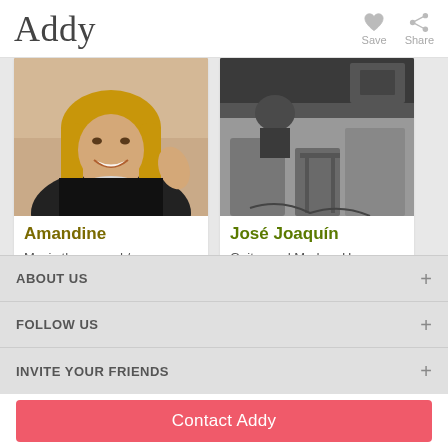Addy
Save
Share
[Figure (photo): Photo of Amandine, a woman with long blonde hair, smiling, wearing a black top and statement necklace]
Amandine
Music theory and / or ...
Student and musician,...
[Figure (photo): Black and white photo of José Joaquín, showing a person with musical equipment or furniture in background]
José Joaquín
Guitar and Modern Ha...
- Method structured by...
ABOUT US
FOLLOW US
INVITE YOUR FRIENDS
Contact Addy